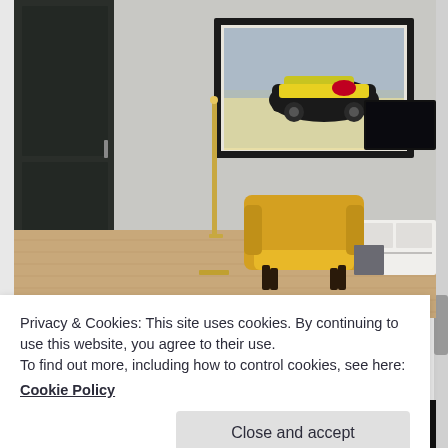[Figure (photo): Interior room scene showing a modern living room with a yellow armchair, gold floor lamp, framed racing car artwork on the wall, decorative dried flowers in a vase on a side table, white TV console with a dark TV, and dark wardrobe doors. Light wood flooring.]
Privacy & Cookies: This site uses cookies. By continuing to use this website, you agree to their use.
To find out more, including how to control cookies, see here:
Cookie Policy
Close and accept
[Figure (photo): Bottom strip showing partial images of racing cars including an Audi race car with number 29.]